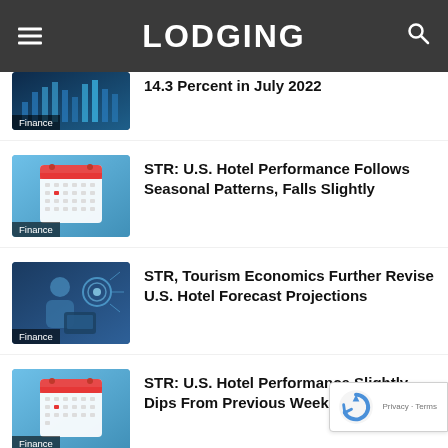LODGING
14.3 Percent in July 2022
STR: U.S. Hotel Performance Follows Seasonal Patterns, Falls Slightly
STR, Tourism Economics Further Revise U.S. Hotel Forecast Projections
STR: U.S. Hotel Performance Slightly Dips From Previous Week
Traveler Sentiment Improves But Higher Prices, Ongoing Pandemic, and